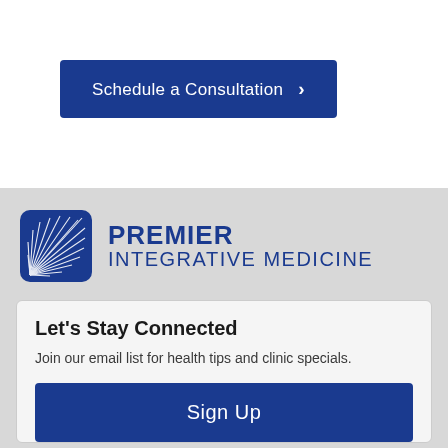[Figure (other): Blue button with text 'Schedule a Consultation' and a right chevron arrow]
[Figure (logo): Premier Integrative Medicine logo — blue sunburst/shell icon on the left, with bold blue text 'PREMIER' and lighter 'INTEGRATIVE MEDICINE' on the right]
Let's Stay Connected
Join our email list for health tips and clinic specials.
[Figure (other): Blue 'Sign Up' button]